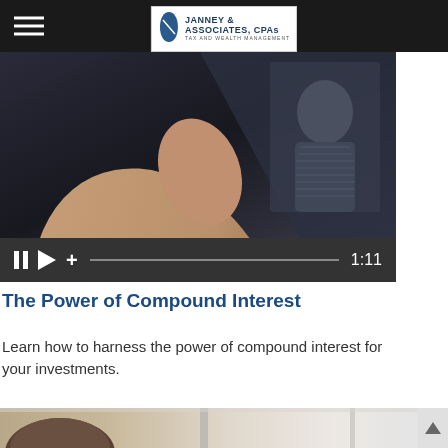Janney & Associates, CPAs — Tax and Wealth Management
[Figure (screenshot): Video player showing a hand touching a screen with an image of a historical figure (currency-related), with video controls showing pause, play, plus button, progress bar, and timestamp 1:11]
The Power of Compound Interest
Learn how to harness the power of compound interest for your investments.
[Figure (photo): Partial photo at bottom of page showing a person's head and what appears to be a window or door frame]